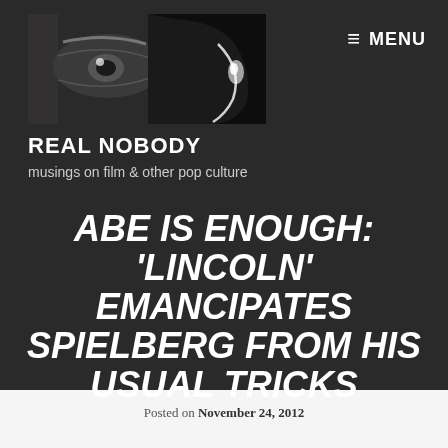[Figure (photo): Black and white header image showing a close-up of an eye and a face silhouette, used as website branding for 'Real Nobody']
≡ MENU
REAL NOBODY
musings on film & other pop culture
ABE IS ENOUGH: 'LINCOLN' EMANCIPATES SPIELBERG FROM HIS USUAL TRICKS
Posted on November 24, 2012